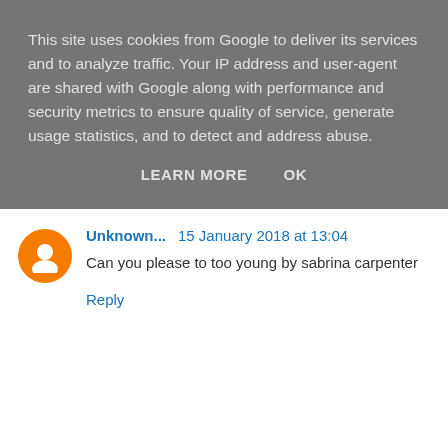This site uses cookies from Google to deliver its services and to analyze traffic. Your IP address and user-agent are shared with Google along with performance and security metrics to ensure quality of service, generate usage statistics, and to detect and address abuse.
LEARN MORE   OK
Unknown...   15 January 2018 at 13:04
Can you please to too young by sabrina carpenter
Reply